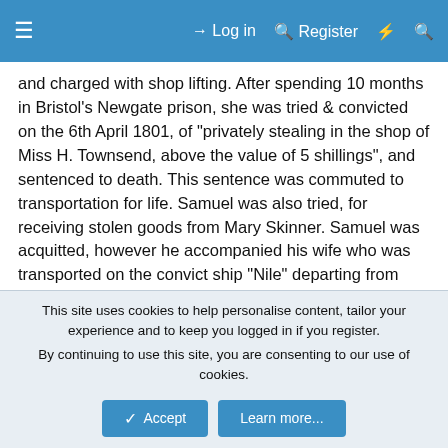≡   Log in   Register   ⚡   🔍
and charged with shop lifting. After spending 10 months in Bristol's Newgate prison, she was tried & convicted on the 6th April 1801, of "privately stealing in the shop of Miss H. Townsend, above the value of 5 shillings", and sentenced to death. This sentence was commuted to transportation for life. Samuel was also tried, for receiving stolen goods from Mary Skinner. Samuel was acquitted, however he accompanied his wife who was transported on the convict ship "Nile" departing from Spithead England on the 27th May 1801, arriving in Sydney Cove on the 14th December 1801."
(Source: "Australian Pottery: The First 100 Years", by Geoff Ford, published 1995)End Quote
This site uses cookies to help personalise content, tailor your experience and to keep you logged in if you register.
By continuing to use this site, you are consenting to our use of cookies.